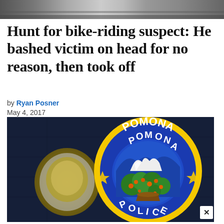[Figure (photo): Top partial photo strip showing a blurred/dark background scene]
Hunt for bike-riding suspect: He bashed victim on head for no reason, then took off
by Ryan Posner
May 4, 2017
[Figure (photo): Close-up photograph of a Pomona Police department badge/patch on a dark navy uniform. The patch is circular, blue with yellow border, reading 'POMONA' at top and 'POLICE' at bottom, with an orange grove scene in the center.]